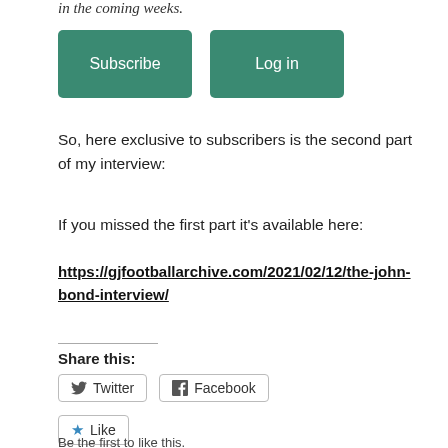in the coming weeks.
[Figure (other): Two green buttons: Subscribe and Log in]
So, here exclusive to subscribers is the second part of my interview:
If you missed the first part it’s available here:
https://gjfootballarchive.com/2021/02/12/the-john-bond-interview/
Share this:
[Figure (other): Twitter and Facebook share buttons]
[Figure (other): Like button with star icon]
Be the first to like this.